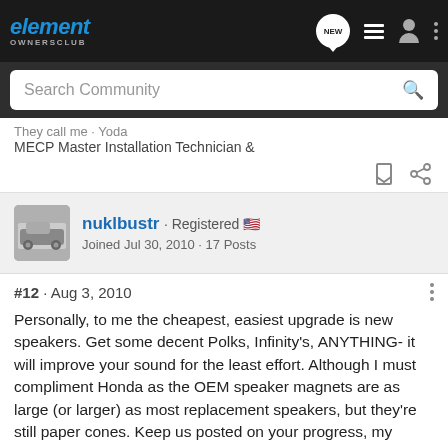element OWNERSCLUB
Search Community
They call me · Yoda
MECP Master Installation Technician &
nuklbustr · Registered 🇺🇸
Joined Jul 30, 2010 · 17 Posts
#12 · Aug 3, 2010
Personally, to me the cheapest, easiest upgrade is new speakers. Get some decent Polks, Infinity's, ANYTHING- it will improve your sound for the least effort. Although I must compliment Honda as the OEM speaker magnets are as large (or larger) as most replacement speakers, but they're still paper cones. Keep us posted on your progress, my upgrade is going